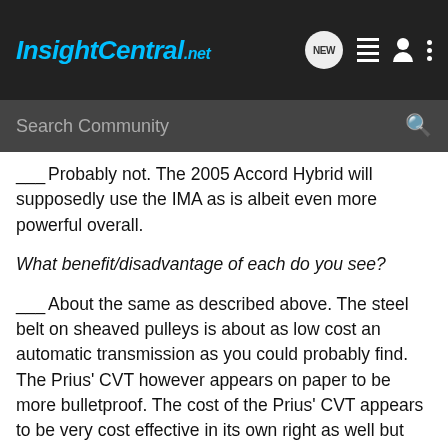InsightCentral.net
Search Community
___Probably not. The 2005 Accord Hybrid will supposedly use the IMA as is albeit even more powerful overall.
What benefit/disadvantage of each do you see?
___About the same as described above. The steel belt on sheaved pulleys is about as low cost an automatic transmission as you could probably find. The Prius' CVT however appears on paper to be more bulletproof. The cost of the Prius' CVT appears to be very cost effective in its own right as well but not when you have to have 2 MG-Sets and an ICE to propel the Prius as a system. I am not sure what kind of transmission the 05 Accord Hybrid will be using but since it is using the same 240 HP V6 as its EX counterpart, I would probably say it will use a std. bulletproof automatic that we have all come to know and love with the IMA attached at the front giving left...